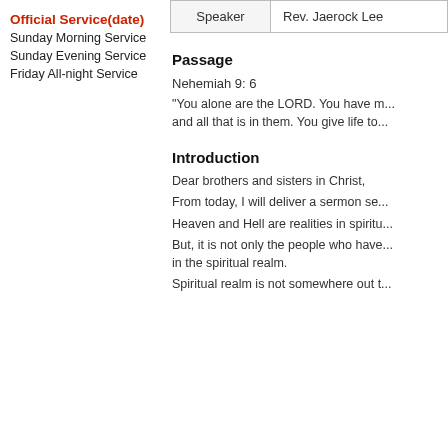Official Service(date)
Sunday Morning Service
Sunday Evening Service
Friday All-night Service
| Speaker | Rev. Jaerock Lee |
| --- | --- |
Passage
Nehemiah 9: 6
"You alone are the LORD. You have m... and all that is in them. You give life to...
Introduction
Dear brothers and sisters in Christ,
From today, I will deliver a sermon se...
Heaven and Hell are realities in spiritu...
But, it is not only the people who have... in the spiritual realm.
Spiritual realm is not somewhere out t...